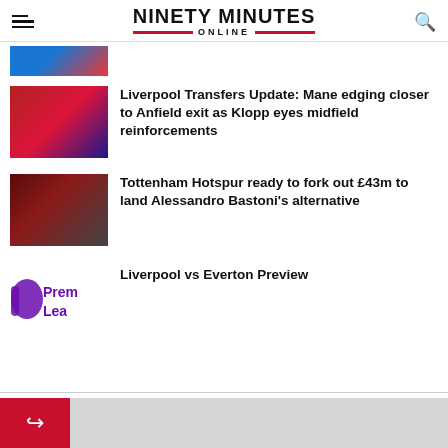NINETY MINUTES ONLINE
[Figure (photo): Partial view of a football article thumbnail at top]
Liverpool Transfers Update: Mane edging closer to Anfield exit as Klopp eyes midfield reinforcements
[Figure (photo): Liverpool player in red kit holding head with medal around neck]
Tottenham Hotspur ready to fork out £43m to land Alessandro Bastoni's alternative
[Figure (photo): Two men at football event, one in maroon Torino kit]
Liverpool vs Everton Preview
[Figure (logo): Premier League logo showing 'Prem Lea' text in purple]